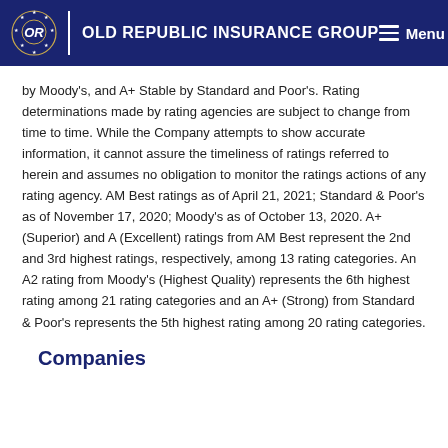OLD REPUBLIC INSURANCE GROUP
by Moody’s, and A+ Stable by Standard and Poor’s. Rating determinations made by rating agencies are subject to change from time to time. While the Company attempts to show accurate information, it cannot assure the timeliness of ratings referred to herein and assumes no obligation to monitor the ratings actions of any rating agency. AM Best ratings as of April 21, 2021; Standard & Poor’s as of November 17, 2020; Moody’s as of October 13, 2020. A+ (Superior) and A (Excellent) ratings from AM Best represent the 2nd and 3rd highest ratings, respectively, among 13 rating categories. An A2 rating from Moody’s (Highest Quality) represents the 6th highest rating among 21 rating categories and an A+ (Strong) from Standard & Poor’s represents the 5th highest rating among 20 rating categories.
Companies